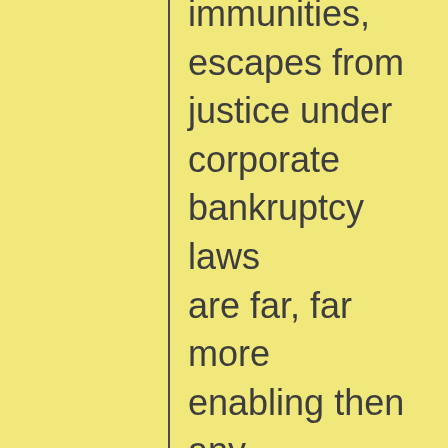immunities, escapes from justice under corporate bankruptcy laws are far, far more enabling then any debtor who tries to start a clean slate and declares bankruptcy for a